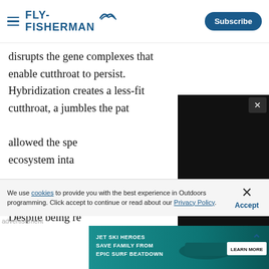FLY FISHERMAN | Subscribe
disrupts the gene complexes that enable cutthroat to persist. Hybridization creates a less-fit cutthroat, and jumbles the patterns that allowed the species to navigate ecosystem intact.
Scenic & B
Despite being re...
[Figure (screenshot): Embedded video player with loading spinner, showing 00:00 / 01:18 runtime, with mute, CC, settings and fullscreen controls]
We use cookies to provide you with the best experience in Outdoors programming. Click accept to continue or read about our Privacy Policy.
[Figure (infographic): Advertisement banner: JET SKI HEROES SAVE FAMILY FROM EPIC SURF BEATDOWN with LEARN MORE button]